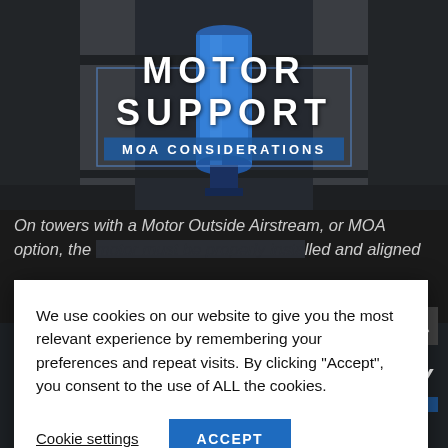[Figure (photo): Dark industrial setting showing a blue motor/cylinder suspended between two concrete pillars, with 'MOTOR SUPPORT' and 'MOA CONSIDERATIONS' text overlaid on a semi-transparent blue bar]
MOTOR SUPPORT
MOA CONSIDERATIONS
On towers with a Motor Outside Airstream, or MOA option, the [motor support must be properly in]stalled and aligned
We use cookies on our website to give you the most relevant experience by remembering your preferences and repeat visits. By clicking “Accept”, you consent to the use of ALL the cookies.
Cookie settings
ACCEPT
[Figure (photo): Dark industrial section showing partial text 'ASSEMBLY' and 'LATION' on a blue bar, with mechanical equipment visible at the bottom]